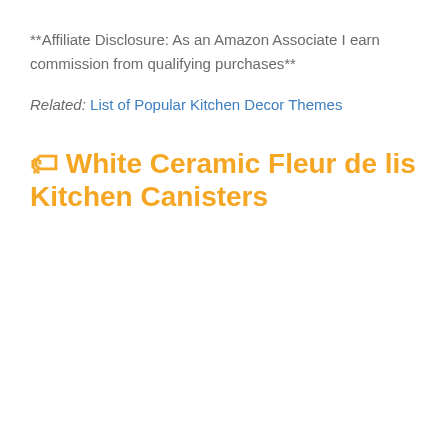**Affiliate Disclosure: As an Amazon Associate I earn commission from qualifying purchases**
Related: List of Popular Kitchen Decor Themes
🏷 White Ceramic Fleur de lis Kitchen Canisters